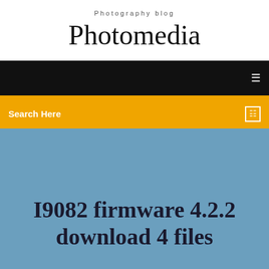Photography blog
Photomedia
☰
Search Here
I9082 firmware 4.2.2 download 4 files